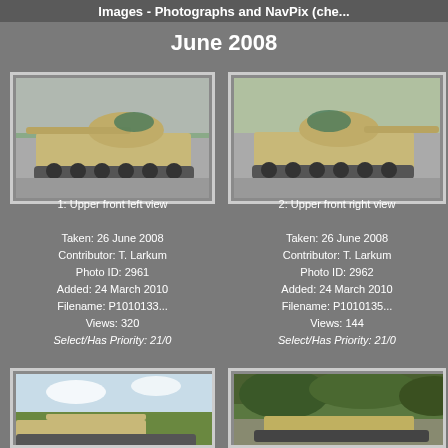Images - Photographs and NavPix (che...
June 2008
[Figure (photo): Upper front left view of a military tank, taken 26 June 2008]
1: Upper front left view
Taken: 26 June 2008
Contributor: T. Larkum
Photo ID: 2961
Added: 24 March 2010
Filename: P1010133...
Views: 320
Select/Has Priority: 21/0
[Figure (photo): Upper front right view of a military tank, taken 26 June 2008]
2: Upper front right view
Taken: 26 June 2008
Contributor: T. Larkum
Photo ID: 2962
Added: 24 March 2010
Filename: P1010135...
Views: 144
Select/Has Priority: 21/0
[Figure (photo): Bottom left tank photo (partially visible)]
[Figure (photo): Bottom right tank photo (partially visible)]